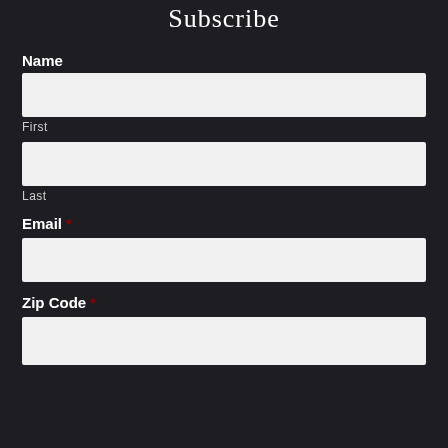Subscribe
Name
First
Last
Email *
Zip Code *